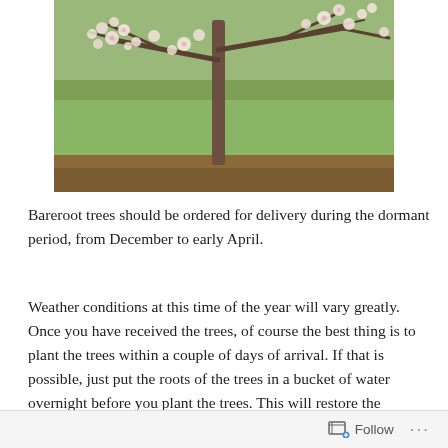[Figure (photo): A blooming tree with white/pink blossoms on bare branches, with a green grassy background and a strip of brown soil at the bottom. The tree trunk is visible in the center.]
Bareroot trees should be ordered for delivery during the dormant period, from December to early April.
Weather conditions at this time of the year will vary greatly. Once you have received the trees, of course the best thing is to plant the trees within a couple of days of arrival. If that is possible, just put the roots of the trees in a bucket of water overnight before you plant the trees. This will restore the optimum moisture content of the tree roots. If
Follow ···